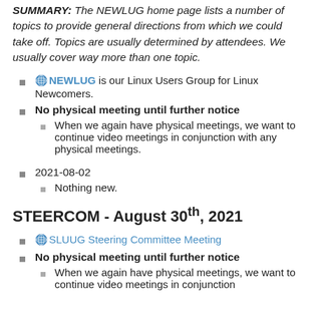SUMMARY: The NEWLUG home page lists a number of topics to provide general directions from which we could take off. Topics are usually determined by attendees. We usually cover way more than one topic.
NEWLUG is our Linux Users Group for Linux Newcomers.
No physical meeting until further notice
When we again have physical meetings, we want to continue video meetings in conjunction with any physical meetings.
2021-08-02
Nothing new.
STEERCOM - August 30th, 2021
SLUUG Steering Committee Meeting
No physical meeting until further notice
When we again have physical meetings, we want to continue video meetings in conjunction